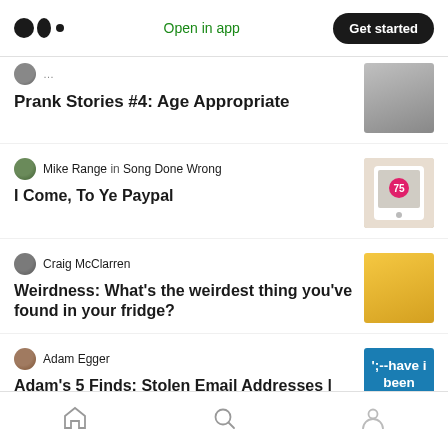Medium logo | Open in app | Get started
Prank Stories #4: Age Appropriate
Mike Range in Song Done Wrong
I Come, To Ye Paypal
Craig McClarren
Weirdness: What's the weirdest thing you've found in your fridge?
Adam Egger
Adam's 5 Finds: Stolen Email Addresses | Be Charming | Da Vinci's To Do List
Home | Search | Profile